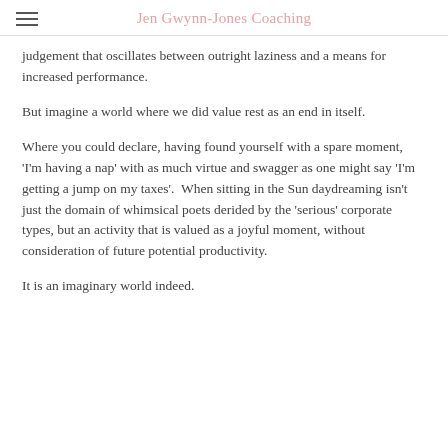Jen Gwynn-Jones Coaching
judgement that oscillates between outright laziness and a means for increased performance.
But imagine a world where we did value rest as an end in itself.
Where you could declare, having found yourself with a spare moment, 'I'm having a nap' with as much virtue and swagger as one might say 'I'm getting a jump on my taxes'.  When sitting in the Sun daydreaming isn't just the domain of whimsical poets derided by the 'serious' corporate types, but an activity that is valued as a joyful moment, without consideration of future potential productivity.
It is an imaginary world indeed.